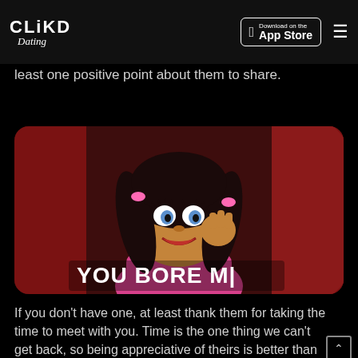CLiKD Dating | Download on the App Store
least one positive point about them to share.
[Figure (photo): A puppet character with dark braided hair, large eyelashes, and a pink outfit, posing thoughtfully with hand near face against a red curtain background. Text overlay reads 'YOU BORE M']
If you don't have one, at least thank them for taking the time to meet with you. Time is the one thing we can't get back, so being appreciative of theirs is better than nothing. However, don't be patronising about it. There's no need to talk down to them. Remember, at some